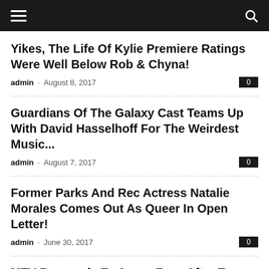Navigation header with hamburger menu and search icon
Yikes, The Life Of Kylie Premiere Ratings Were Well Below Rob & Chyna!
admin – August 8, 2017   0
Guardians Of The Galaxy Cast Teams Up With David Hasselhoff For The Weirdest Music...
admin – August 7, 2017   0
Former Parks And Rec Actress Natalie Morales Comes Out As Queer In Open Letter!
admin – June 30, 2017   0
MTV Responds To Angry Fans After Teen Mom OG Cameras Kept Rolling While Ryan...